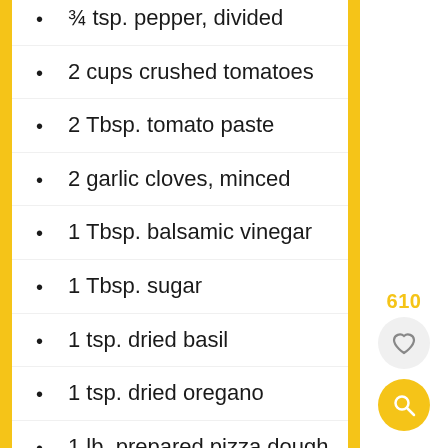¾ tsp. pepper, divided
2 cups crushed tomatoes
2 Tbsp. tomato paste
2 garlic cloves, minced
1 Tbsp. balsamic vinegar
1 Tbsp. sugar
1 tsp. dried basil
1 tsp. dried oregano
1 lb. prepared pizza dough (or 1 recipe homemade pizza dough)
Fresh basil to garnish